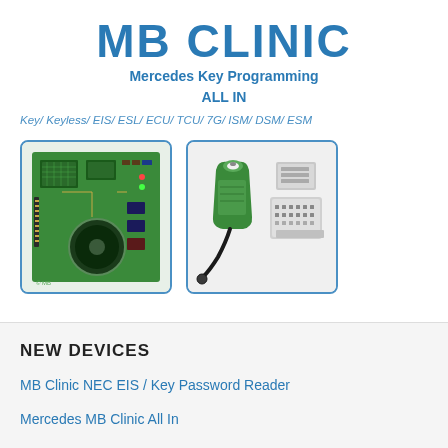MB CLINIC
Mercedes Key Programming
ALL IN
Key/ Keyless/ EIS/ ESL/ ECU/ TCU/ 7G/ ISM/ DSM/ ESM
[Figure (photo): Two product images: left shows a green circuit board (PCB) with components; right shows a green cable/antenna connector and an OBD-style adapter, displayed in rounded blue-bordered boxes.]
NEW DEVICES
MB Clinic NEC EIS / Key Password Reader
Mercedes MB Clinic All In
BMW/MINI EEM/BDC Key programmer by OBD